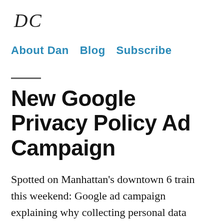DC
About Dan   Blog   Subscribe
New Google Privacy Policy Ad Campaign
Spotted on Manhattan's downtown 6 train this weekend: Google ad campaign explaining why collecting personal data makes their